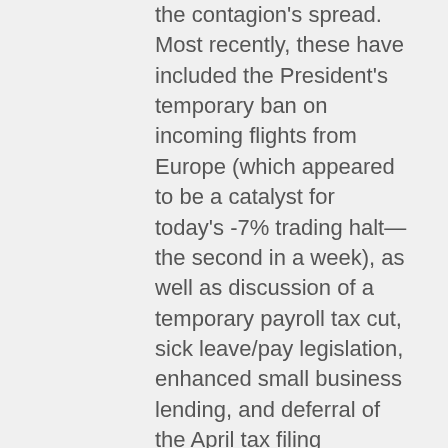the contagion's spread. Most recently, these have included the President's temporary ban on incoming flights from Europe (which appeared to be a catalyst for today's -7% trading halt—the second in a week), as well as discussion of a temporary payroll tax cut, sick leave/pay legislation, enhanced small business lending, and deferral of the April tax filing deadline. Several large corporations have also begun to voluntarily request, then require, that employees work remotely. According to a variety of medical experts, such measures can be important in stemming the growth of the virus. While a large proportion of the population that contracts COVID-19 seem to be asymptomatic, the concern is over the elderly and otherwise health-compromised groups, where, as with the common flu,